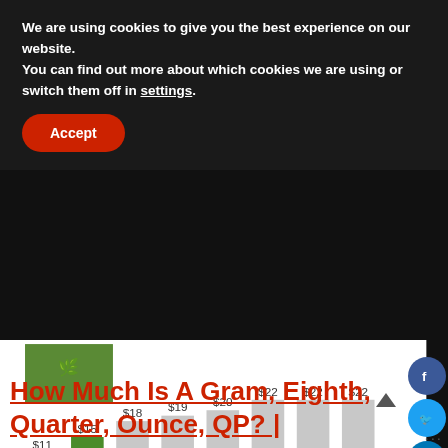We are using cookies to give you the best experience on our website.
You can find out more about which cookies we are using or switch them off in settings.
Accept
[Figure (bar-chart): Price per gram by country]
How Much Is A Gram, Eighth, Quarter, Ounce, QP? |